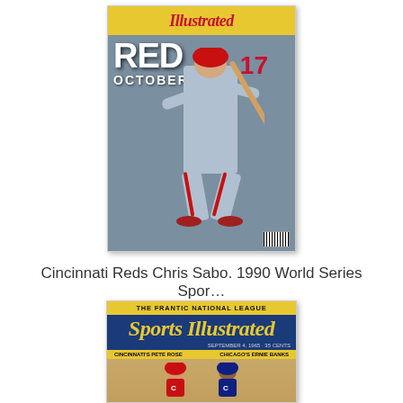[Figure (photo): Sports Illustrated magazine cover featuring Cincinnati Reds player Chris Sabo (#17) batting, with RED OCTOBER text overlay]
Cincinnati Reds Chris Sabo. 1990 World Series Spor...
Sports Illustrated
$105
[Figure (photo): Sports Illustrated magazine cover with THE FRANTIC NATIONAL LEAGUE headline, showing Cincinnati's Pete Rose and Chicago's Ernie Banks]